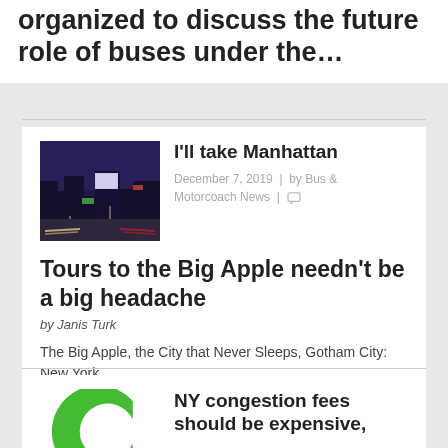organized to discuss the future role of buses under the…
I'll take Manhattan
December 7, 2019 | by Bus & Motorcoach News |
[Figure (photo): Night cityscape photo of Manhattan streets with neon signs and car traffic]
Tours to the Big Apple needn't be a big headache
by Janis Turk
The Big Apple, the City that Never Sleeps, Gotham City: New York…
NY congestion fees should be expensive,